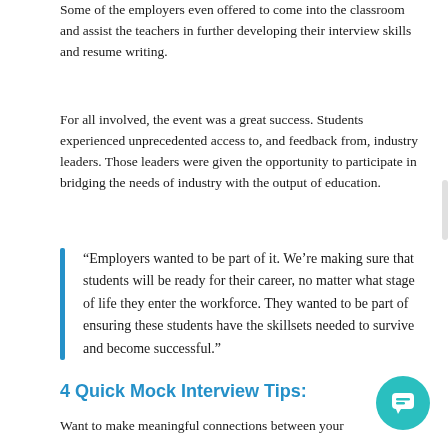Some of the employers even offered to come into the classroom and assist the teachers in further developing their interview skills and resume writing.
For all involved, the event was a great success. Students experienced unprecedented access to, and feedback from, industry leaders. Those leaders were given the opportunity to participate in bridging the needs of industry with the output of education.
“Employers wanted to be part of it. We’re making sure that students will be ready for their career, no matter what stage of life they enter the workforce. They wanted to be part of ensuring these students have the skillsets needed to survive and become successful.”
4 Quick Mock Interview Tips:
Want to make meaningful connections between your